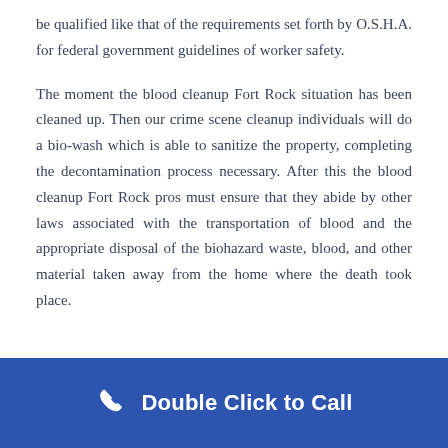be qualified like that of the requirements set forth by O.S.H.A. for federal government guidelines of worker safety.
The moment the blood cleanup Fort Rock situation has been cleaned up. Then our crime scene cleanup individuals will do a bio-wash which is able to sanitize the property, completing the decontamination process necessary. After this the blood cleanup Fort Rock pros must ensure that they abide by other laws associated with the transportation of blood and the appropriate disposal of the biohazard waste, blood, and other material taken away from the home where the death took place.
Double Click to Call